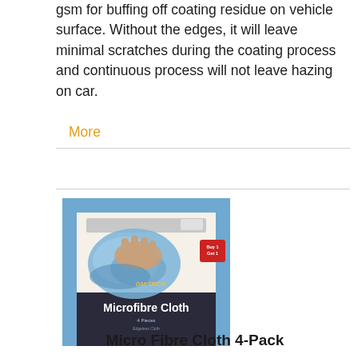gsm for buffing off coating residue on vehicle surface. Without the edges, it will leave minimal scratches during the coating process and continuous process will not leave hazing on car.
More
[Figure (photo): Product photo of GM-Tech Microfibre Cloth 4-Pack in packaging, showing a hand holding a blue microfibre cloth]
Micro Fibre Cloth 4-Pack